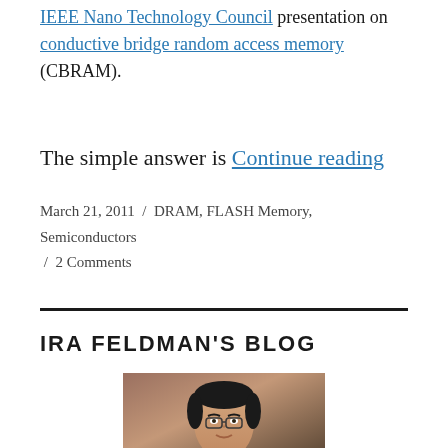IEEE Nano Technology Council presentation on conductive bridge random access memory (CBRAM).
The simple answer is Continue reading
March 21, 2011 / DRAM, FLASH Memory, Semiconductors / 2 Comments
IRA FELDMAN'S BLOG
[Figure (photo): Portrait photo of Ira Feldman, a man with short dark hair]